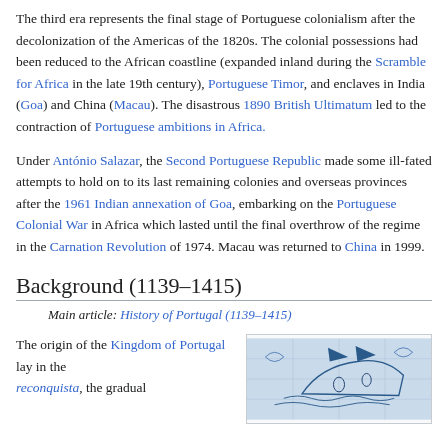The third era represents the final stage of Portuguese colonialism after the decolonization of the Americas of the 1820s. The colonial possessions had been reduced to the African coastline (expanded inland during the Scramble for Africa in the late 19th century), Portuguese Timor, and enclaves in India (Goa) and China (Macau). The disastrous 1890 British Ultimatum led to the contraction of Portuguese ambitions in Africa.
Under António Salazar, the Second Portuguese Republic made some ill-fated attempts to hold on to its last remaining colonies and overseas provinces after the 1961 Indian annexation of Goa, embarking on the Portuguese Colonial War in Africa which lasted until the final overthrow of the regime in the Carnation Revolution of 1974. Macau was returned to China in 1999.
Background (1139–1415)
Main article: History of Portugal (1139–1415)
The origin of the Kingdom of Portugal lay in the reconquista, the gradual
[Figure (illustration): Blue and white tile illustration depicting a historical maritime or battle scene, likely Portuguese azulejo tilework]